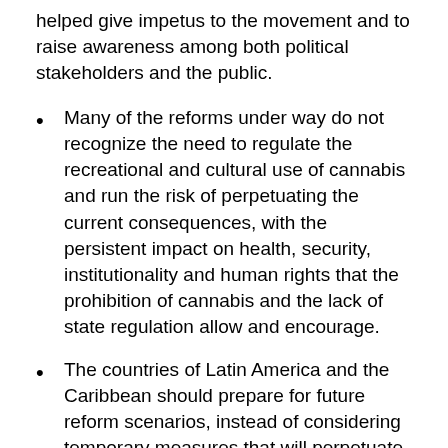helped give impetus to the movement and to raise awareness among both political stakeholders and the public.
Many of the reforms under way do not recognize the need to regulate the recreational and cultural use of cannabis and run the risk of perpetuating the current consequences, with the persistent impact on health, security, institutionality and human rights that the prohibition of cannabis and the lack of state regulation allow and encourage.
The countries of Latin America and the Caribbean should prepare for future reform scenarios, instead of considering temporary measures that will perpetuate the same harmful consequences. Limiting reform solely to medicinal cannabis is only a partial, inadequate and temporary solution. If change is truly